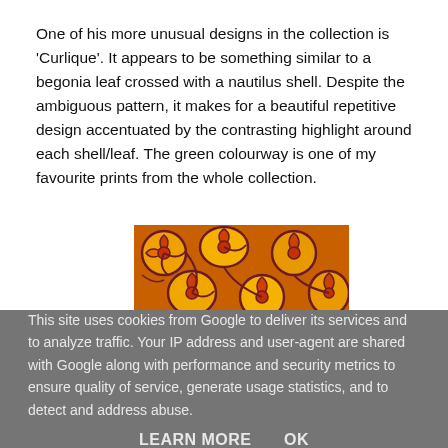One of his more unusual designs in the collection is 'Curlique'. It appears to be something similar to a begonia leaf crossed with a nautilus shell. Despite the ambiguous pattern, it makes for a beautiful repetitive design accentuated by the contrasting highlight around each shell/leaf. The green colourway is one of my favourite prints from the whole collection.
[Figure (photo): A close-up photograph of a textile fabric with a repeating swirling/spiral pattern in orange, yellow, and dark purple/brown tones, resembling nautilus shells or begonia leaves.]
This site uses cookies from Google to deliver its services and to analyze traffic. Your IP address and user-agent are shared with Google along with performance and security metrics to ensure quality of service, generate usage statistics, and to detect and address abuse.
LEARN MORE   OK